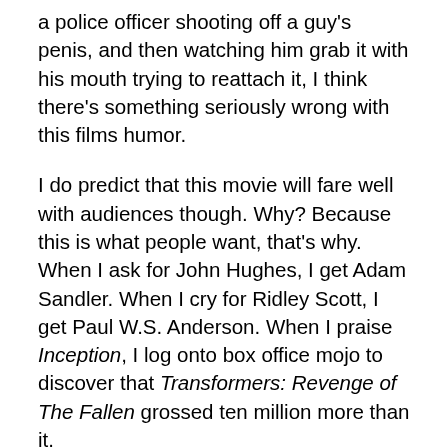a police officer shooting off a guy's penis, and then watching him grab it with his mouth trying to reattach it, I think there's something seriously wrong with this films humor.
I do predict that this movie will fare well with audiences though. Why? Because this is what people want, that's why. When I ask for John Hughes, I get Adam Sandler. When I cry for Ridley Scott, I get Paul W.S. Anderson. When I praise Inception, I log onto box office mojo to discover that Transformers: Revenge of The Fallen grossed ten million more than it.
The more I think about this movie, the more frustrated I become. This movie has little to no redeeming factors, the phrase "it was fun" being its only flimsy crutch. There will be no doubt people who will defend it, and these are the